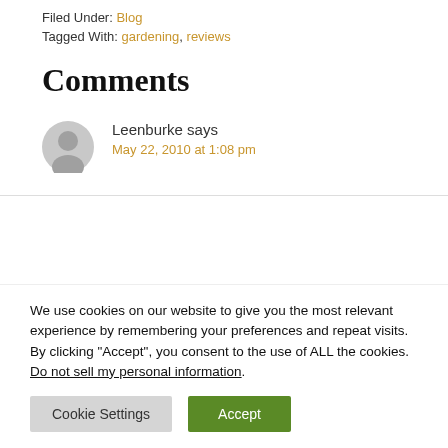Filed Under: Blog
Tagged With: gardening, reviews
Comments
Leenburke says May 22, 2010 at 1:08 pm
We use cookies on our website to give you the most relevant experience by remembering your preferences and repeat visits. By clicking “Accept”, you consent to the use of ALL the cookies.
Do not sell my personal information.